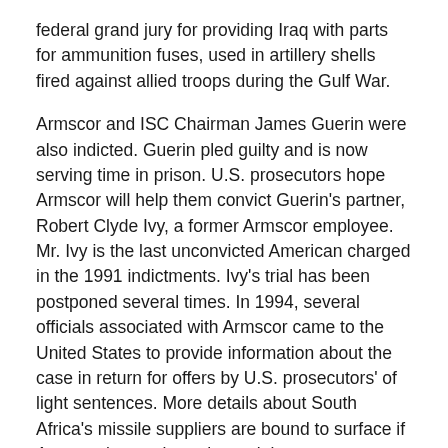federal grand jury for providing Iraq with parts for ammunition fuses, used in artillery shells fired against allied troops during the Gulf War.
Armscor and ISC Chairman James Guerin were also indicted. Guerin pled guilty and is now serving time in prison. U.S. prosecutors hope Armscor will help them convict Guerin's partner, Robert Clyde Ivy, a former Armscor employee. Mr. Ivy is the last unconvicted American charged in the 1991 indictments. Ivy's trial has been postponed several times. In 1994, several officials associated with Armscor came to the United States to provide information about the case in return for offers by U.S. prosecutors' of light sentences. More details about South Africa's missile suppliers are bound to surface if Armscor is ever brought to trial.
Analysis